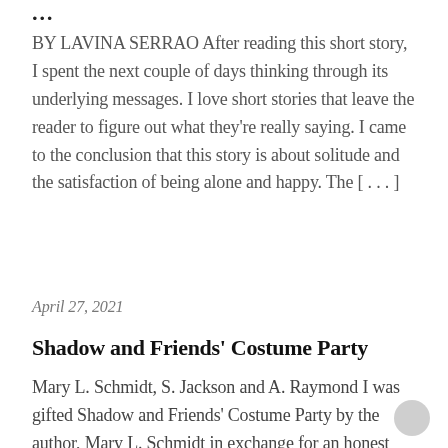...
BY LAVINA SERRAO After reading this short story, I spent the next couple of days thinking through its underlying messages. I love short stories that leave the reader to figure out what they're really saying. I came to the conclusion that this story is about solitude and the satisfaction of being alone and happy. The [ . . . ]
April 27, 2021
Shadow and Friends' Costume Party
Mary L. Schmidt, S. Jackson and A. Raymond I was gifted Shadow and Friends' Costume Party by the author, Mary L. Schmidt in exchange for an honest review. Although I'm an adult and this is a children's book, I ended up buying it because I loved the